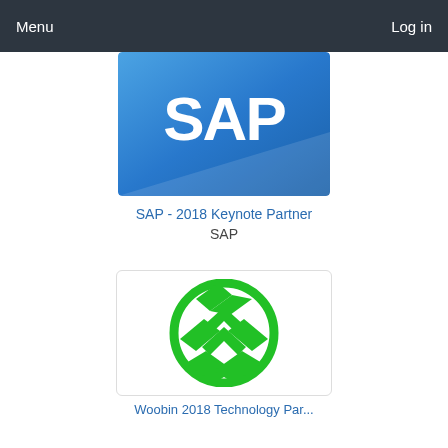Menu   Log in
[Figure (logo): SAP logo on blue gradient background]
SAP - 2018 Keynote Partner
SAP
[Figure (logo): Green circular woven/leaf chevron logo on white background with border]
Woobin 2018 Technology Partner (partial, cut off)